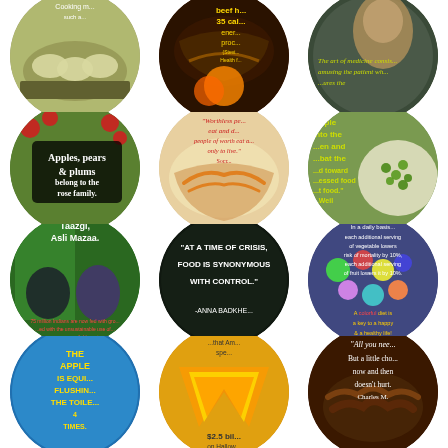[Figure (photo): Circular collage image 1: Dumplings cooking in a pan with text overlay]
[Figure (photo): Circular collage image 2: Steak on grill with text about beef having 35 calories, energy, protein]
[Figure (photo): Circular collage image 3: Portrait of historical figure with quote about art of medicine amusing the patient]
[Figure (photo): Circular collage image 4: Apple orchard with text - Apples, pears & plums belong to the rose family.]
[Figure (photo): Circular collage image 5: Pasta dish with quote - Worthless people live only to eat and drink; people of worth eat and drink only to live.]
[Figure (photo): Circular collage image 6: Bowl of peas with text about people going into the kitchen and what toward processed food]
[Figure (photo): Circular collage image 7: Indian farmers with text - Taazgi, Asli Mazaa. 75 million Indians are now fed with groundwater with unsustainable use of our groundwater.]
[Figure (photo): Circular collage image 8: Dark background with quote - AT A TIME OF CRISIS, FOOD IS SYNONYMOUS WITH CONTROL. -ANNA BADKHEN]
[Figure (photo): Circular collage image 9: Colorful candies with text about daily basis, vegetable serving reducing mortality by 10%, fruit lowers it by 10%. A colorful diet is key to happy and healthy life.]
[Figure (photo): Circular collage image 10: Blue water background with text - THE APPLE IS EQUIVALENT TO FLUSHING THE TOILET 4 TIMES.]
[Figure (photo): Circular collage image 11: Candy corn with text - Americans spend $2.5 billion on Halloween candy this year.]
[Figure (photo): Circular collage image 12: Chocolate with quote - All you need is love. But a little chocolate now and then doesn't hurt. Charles M.]